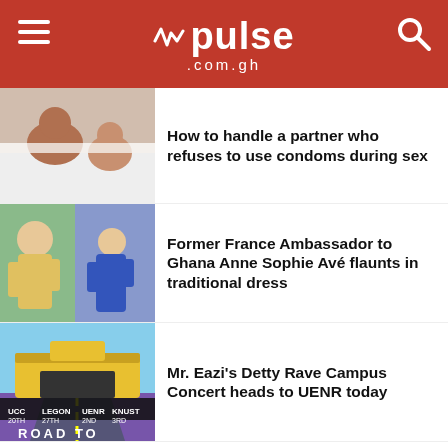pulse .com.gh
[Figure (photo): Couple in bed - article thumbnail for condom article]
How to handle a partner who refuses to use condoms during sex
[Figure (photo): Former France Ambassador to Ghana Anne Sophie Avé in traditional dress]
Former France Ambassador to Ghana Anne Sophie Avé flaunts in traditional dress
[Figure (photo): Detty Rave Campus Concert poster with ROAD TO banner]
Mr. Eazi's Detty Rave Campus Concert heads to UENR today
Taboola Feed